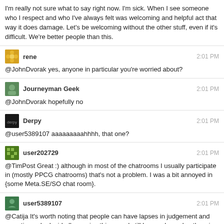I'm really not sure what to say right now. I'm sick. When I see someone who I respect and who I've always felt was welcoming and helpful act that way it does damage. Let's be welcoming without the other stuff, even if it's difficult. We're better people than this.
rene 2:01 PM
@JohnDvorak yes, anyone in particular you're worried about?
Journeyman Geek 2:01 PM
@JohnDvorak hopefully no
Derpy 2:01 PM
@user5389107 aaaaaaaaahhhh, that one?
user202729 2:01 PM
@TimPost Great :) although in most of the chatrooms I usually participate in (mostly PPCG chatrooms) that's not a problem. I was a bit annoyed in {some Meta.SE/SO chat room}.
user5389107 2:01 PM
@Catija It's worth noting that people can have lapses in judgement and sometimes do decidedly un-nice things and still be good people otherwise
@Derpy yea
I'm curious
John Dvorak 2:02 PM
@rene I'm worried about my sanity and ... site permissions. Anyone else I cannot affect.
iLEEE 2:02 PM